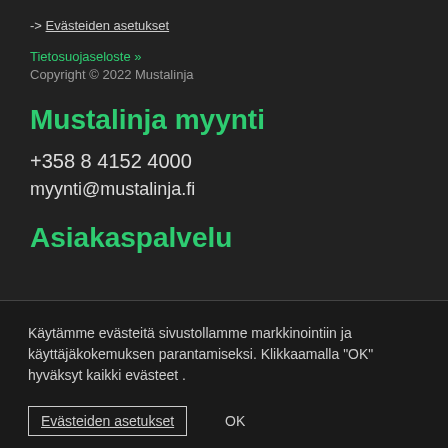-> Evästeiden asetukset
Tietosuojaseloste »
Copyright © 2022 Mustalinja
Mustalinja myynti
+358 8 4152 4000
myynti@mustalinja.fi
Asiakaspalvelu
Käytämme evästeitä sivustollamme markkinointiin ja käyttäjäkokemuksen parantamiseksi. Klikkaamalla "OK" hyväksyt kaikki evästeet .
Evästeiden asetukset   OK